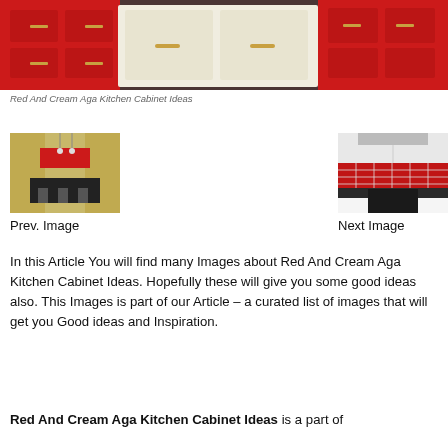[Figure (photo): Red and cream AGA kitchen with red cabinets and cream stove against dark floor]
Red And Cream Aga Kitchen Cabinet Ideas
[Figure (photo): Kitchen with red backsplash and dark island with bar stools - prev image thumbnail]
[Figure (photo): White cabinets with red subway tile backsplash - next image thumbnail]
Prev. Image
Next Image
In this Article You will find many Images about Red And Cream Aga Kitchen Cabinet Ideas. Hopefully these will give you some good ideas also. This Images is part of our Article – a curated list of images that will get you Good ideas and Inspiration.
Red And Cream Aga Kitchen Cabinet Ideas is a part of